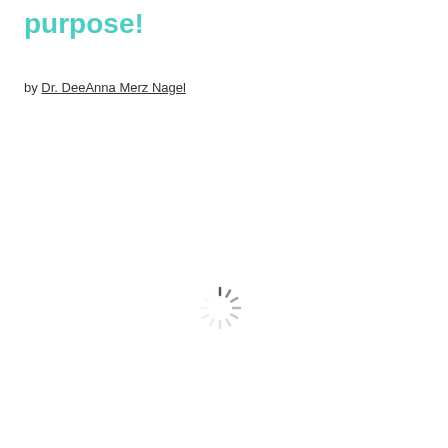purpose!
by Dr. DeeAnna Merz Nagel
[Figure (other): Loading spinner icon — a circular arrangement of short dark radial lines (like a sunburst) on a white background, representing a loading/waiting animation.]